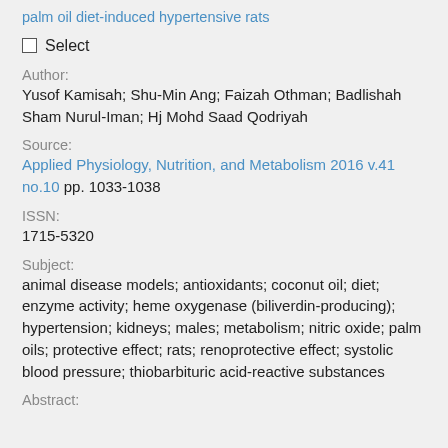palm oil diet-induced hypertensive rats
Select
Author:
Yusof Kamisah; Shu-Min Ang; Faizah Othman; Badlishah Sham Nurul-Iman; Hj Mohd Saad Qodriyah
Source:
Applied Physiology, Nutrition, and Metabolism 2016 v.41 no.10 pp. 1033-1038
ISSN:
1715-5320
Subject:
animal disease models; antioxidants; coconut oil; diet; enzyme activity; heme oxygenase (biliverdin-producing); hypertension; kidneys; males; metabolism; nitric oxide; palm oils; protective effect; rats; renoprotective effect; systolic blood pressure; thiobarbituric acid-reactive substances
Abstract: